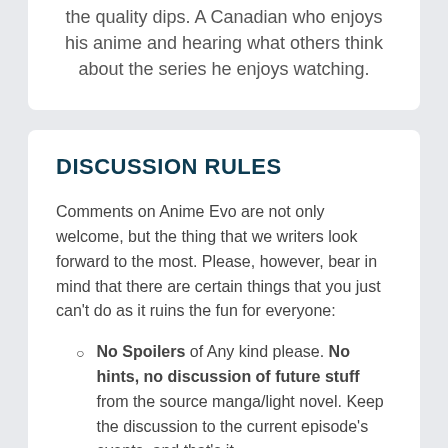the quality dips. A Canadian who enjoys his anime and hearing what others think about the series he enjoys watching.
DISCUSSION RULES
Comments on Anime Evo are not only welcome, but the thing that we writers look forward to the most. Please, however, bear in mind that there are certain things that you just can't do as it ruins the fun for everyone:
No Spoilers of Any kind please. No hints, no discussion of future stuff from the source manga/light novel. Keep the discussion to the current episode's events, and that's it.
No personal attacks.